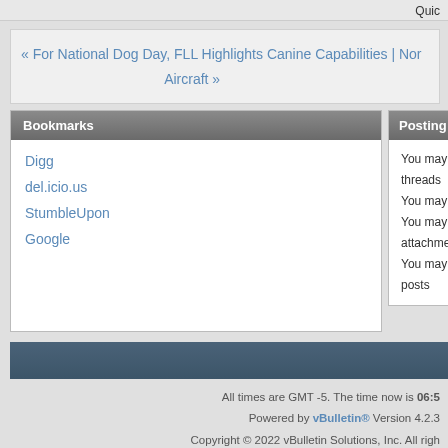Quic
« For National Dog Day, FLL Highlights Canine Capabilities | Nor... Aircraft »
Bookmarks
Digg
del.icio.us
StumbleUpon
Google
Posting Perm
You may not threads
You may not
You may not attachments
You may not posts
Co
All times are GMT -5. The time now is 06:5
Powered by vBulletin® Version 4.2.3
Copyright © 2022 vBulletin Solutions, Inc. All righ
Site © Copyright 2017, NYCAviation LLC. Comments and pho